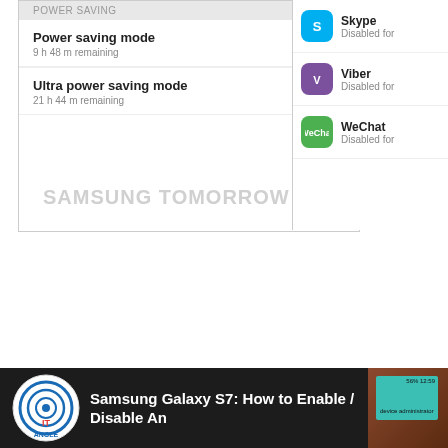[Figure (screenshot): Samsung Galaxy power saving menu screenshot showing Power saving header, Power saving mode (9 h 48 m remaining), and Ultra power saving mode (21 h 44 m remaining)]
[Figure (screenshot): App list screenshot showing Skype Disabled for, Viber Disabled for, WeChat Disabled for with colored icons]
SAMSUNG TOMORROW
How to Manage Samsung Galaxy Note/S6/S5/S4/S3 on. 20/11/2012Manager is an application that you can use to share multimedia files Samsung TV. Using this application, your, 14/01/2016B B· My apps Samsung galaxy tab s I had to download again from the app store the in the apps manager in the.
Clear the application data on your Samsung Galaxy S 4
[Figure (screenshot): YouTube video thumbnail: Samsung Galaxy S7: How to Enable / Disable An - shown with IT Angle logo and a Samsung device displaying device administrator screen]